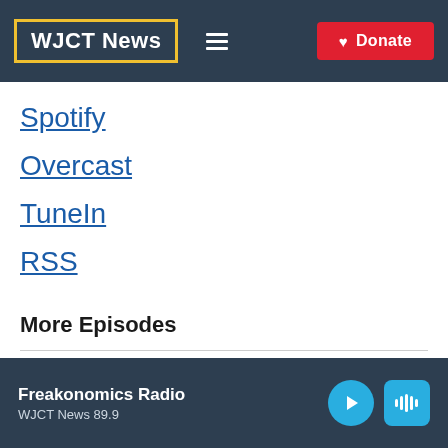WJCT News | Donate
Spotify
Overcast
TuneIn
RSS
More Episodes
Freakonomics Radio | WJCT News 89.9